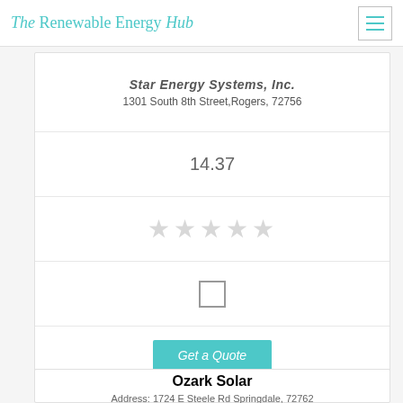The Renewable Energy Hub
Star Energy Systems, Inc.
1301 South 8th Street,Rogers, 72756
14.37
[Figure (other): Five empty star rating icons (unrated/grey stars)]
[Figure (other): Empty checkbox (unchecked square checkbox)]
Get a Quote
Ozark Solar
Address: 1724 E Steele Rd Springdale, 72762